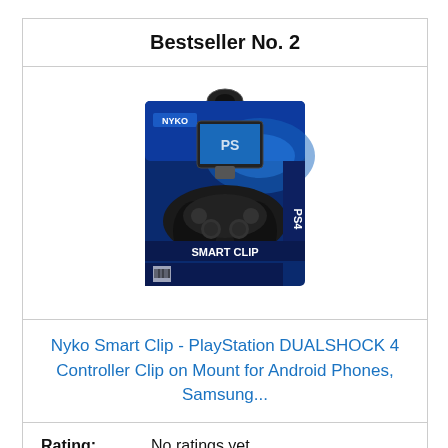Bestseller No. 2
[Figure (photo): Product box image of Nyko Smart Clip for PS4 DUALSHOCK 4 controller, showing a PlayStation controller with a smartphone mounted on top via a clip, on a blue and black retail box labeled 'SMART CLIP' with NYKO and PS4 branding.]
Nyko Smart Clip - PlayStation DUALSHOCK 4 Controller Clip on Mount for Android Phones, Samsung...
Rating: No ratings yet
Check on Amazon